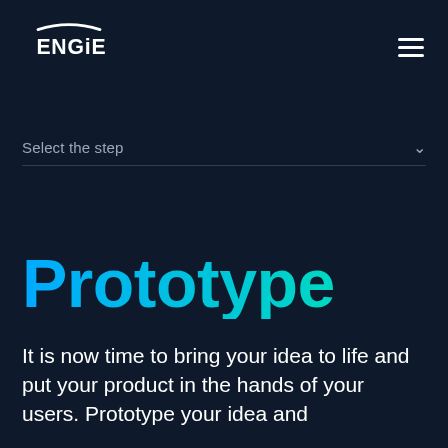ENGIE [logo] [hamburger menu]
Select the step
Prototype
It is now time to bring your idea to life and put your product in the hands of your users. Prototype your idea and